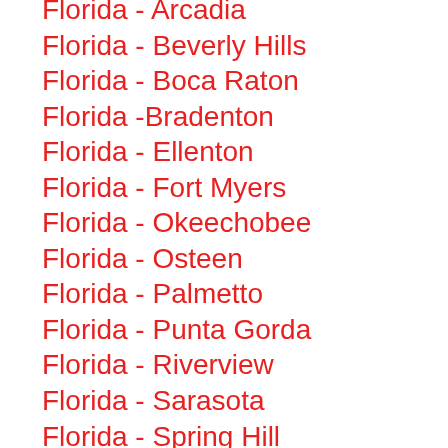Florida - Arcadia
Florida - Beverly Hills
Florida - Boca Raton
Florida -Bradenton
Florida - Ellenton
Florida - Fort Myers
Florida - Okeechobee
Florida - Osteen
Florida - Palmetto
Florida - Punta Gorda
Florida - Riverview
Florida - Sarasota
Florida - Spring Hill
Florida- Spring Hill
Florida - Tampa
Florida - Zephyrhills